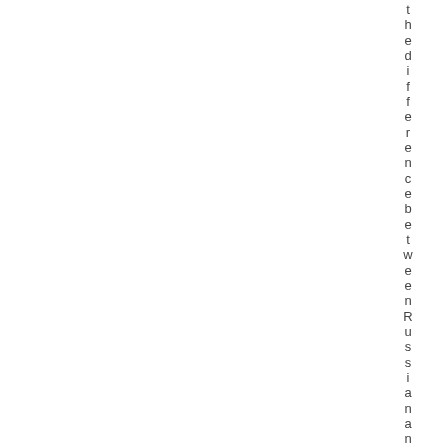the difference between Russian and u
[Figure (other): Light blue/grey shaded rectangular region occupying the middle column of the page layout]